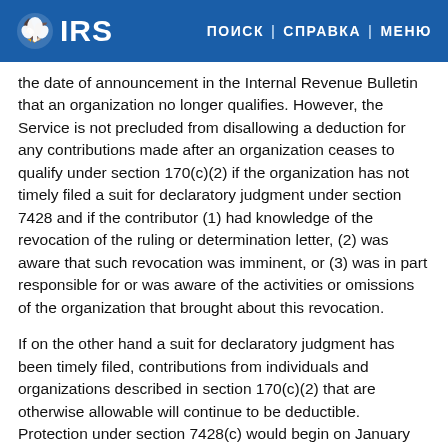IRS | ПОИСК | СПРАВКА | МЕНЮ
the date of announcement in the Internal Revenue Bulletin that an organization no longer qualifies. However, the Service is not precluded from disallowing a deduction for any contributions made after an organization ceases to qualify under section 170(c)(2) if the organization has not timely filed a suit for declaratory judgment under section 7428 and if the contributor (1) had knowledge of the revocation of the ruling or determination letter, (2) was aware that such revocation was imminent, or (3) was in part responsible for or was aware of the activities or omissions of the organization that brought about this revocation.
If on the other hand a suit for declaratory judgment has been timely filed, contributions from individuals and organizations described in section 170(c)(2) that are otherwise allowable will continue to be deductible. Protection under section 7428(c) would begin on January 14, 2008, and would end on the date the court first determines that the organization is not described in